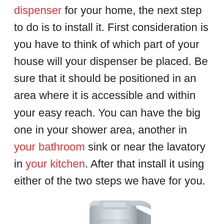dispenser for your home, the next step to do is to install it. First consideration is you have to think of which part of your house will your dispenser be placed. Be sure that it should be positioned in an area where it is accessible and within your easy reach. You can have the big one in your shower area, another in your bathroom sink or near the lavatory in your kitchen. After that install it using either of the two steps we have for you.
[Figure (photo): A silver/chrome colored soap or hand sanitizer dispenser, rectangular with rounded corners, viewed at a slight angle showing its front and side.]